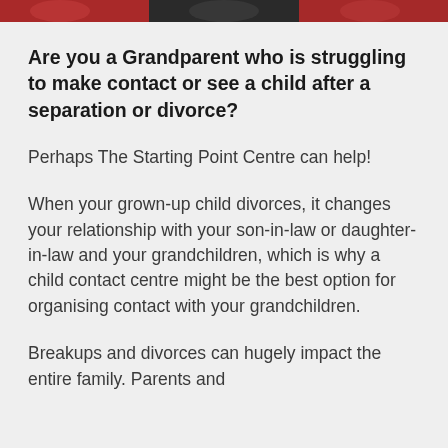[Figure (photo): Photo strip at the top of the page showing partial images of people, with red and dark tones.]
Are you a Grandparent who is struggling to make contact or see a child after a separation or divorce?
Perhaps The Starting Point Centre can help!
When your grown-up child divorces, it changes your relationship with your son-in-law or daughter-in-law and your grandchildren, which is why a child contact centre might be the best option for organising contact with your grandchildren.
Breakups and divorces can hugely impact the entire family. Parents and